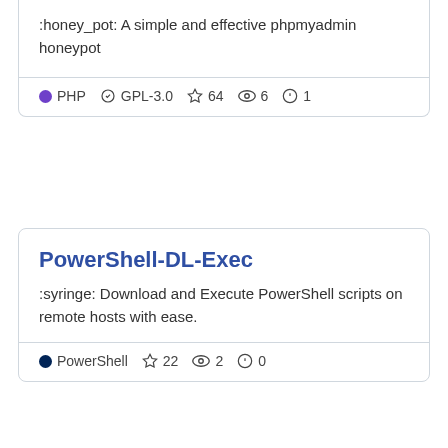:honey_pot: A simple and effective phpmyadmin honeypot
PHP  GPL-3.0  ☆ 64  👁 6  ⚠ 1
PowerShell-DL-Exec
:syringe: Download and Execute PowerShell scripts on remote hosts with ease.
PowerShell  ☆ 22  👁 2  ⚠ 0